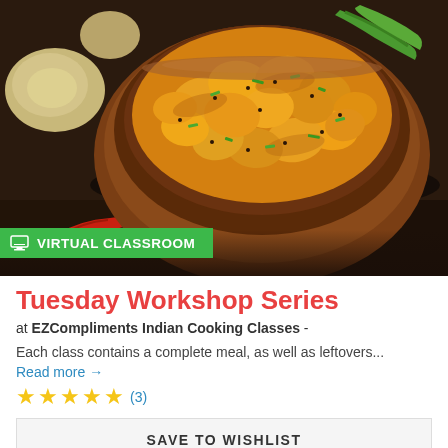[Figure (photo): A clay bowl filled with golden-orange spiced potato/vegetable curry garnished with green herbs and spices, with green chilies and potatoes visible in the background on a dark wooden surface.]
VIRTUAL CLASSROOM
Tuesday Workshop Series
at EZCompliments Indian Cooking Classes -
Each class contains a complete meal, as well as leftovers...
Read more →
★★★★★ (3)
SAVE TO WISHLIST